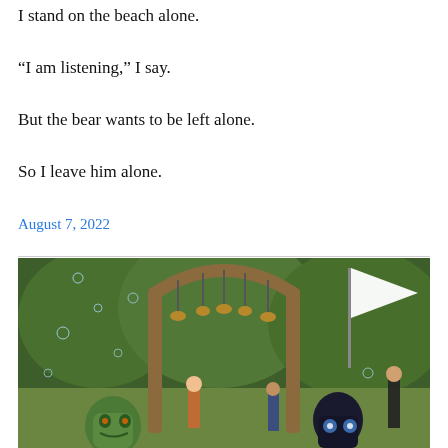I stand on the beach alone.
“I am listening,” I say.
But the bear wants to be left alone.
So I leave him alone.
August 7, 2022
[Figure (photo): Outdoor festival or event scene with a wooden arch structure decorated with hanging objects, bubbles floating in the air, people in costumes including a green monster mask and a dark figure, with dense green trees in the background and a white flag/banner on the right.]